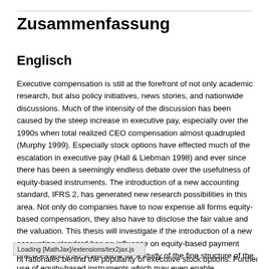Zusammenfassung
Englisch
Executive compensation is still at the forefront of not only academic research, but also policy initiatives, news stories, and nationwide discussions. Much of the intensity of the discussion has been caused by the steep increase in executive pay, especially over the 1990s when total realized CEO compensation almost quadrupled (Murphy 1999). Especially stock options have effected much of the escalation in executive pay (Hall & Liebman 1998) and ever since there has been a seemingly endless debate over the usefulness of equity-based instruments. The introduction of a new accounting standard, IFRS 2, has generated new research possibilities in this area. Not only do companies have to now expense all forms equity-based compensation, they also have to disclose the fair value and the valuation. This thesis will investigate if the introduction of a new accounting standard has an influence on equity-based payment practices and if so, it will allow for a study of the fine structure of the use of equity-based instruments which may even enable
Loading [MathJax]/extensions/tex2jax.js
nt rationales behind the popularity of executive stock options. Further, it will analyse the effectiveness